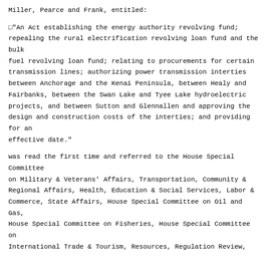Miller, Pearce and Frank, entitled:
"An Act establishing the energy authority revolving fund; repealing the rural electrification revolving loan fund and the bulk fuel revolving loan fund; relating to procurements for certain transmission lines; authorizing power transmission interties between Anchorage and the Kenai Peninsula, between Healy and Fairbanks, between the Swan Lake and Tyee Lake hydroelectric projects, and between Sutton and Glennallen and approving the design and construction costs of the interties; and providing for an effective date."
was read the first time and referred to the House Special Committee on Military & Veterans' Affairs, Transportation, Community & Regional Affairs, Health, Education & Social Services, Labor & Commerce, State Affairs, House Special Committee on Oil and Gas, House Special Committee on Fisheries, House Special Committee on International Trade & Tourism, Resources, Regulation Review,